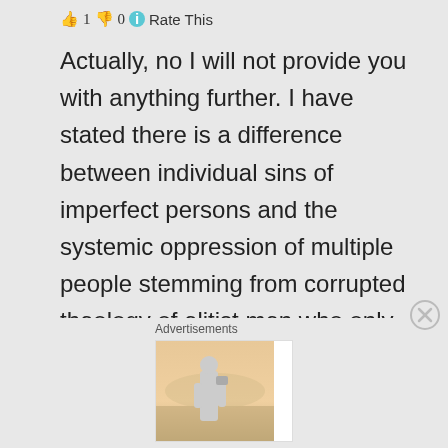👍 1 👎 0 ℹ Rate This
Actually, no I will not provide you with anything further. I have stated there is a difference between individual sins of imperfect persons and the systemic oppression of multiple people stemming from corrupted theology of elitist men who only care about preserving their own privilege. I have allowed
Advertisements
[Figure (infographic): Advertisement banner for Day One Journal app showing a person photographing a landscape, with text 'Over 150,000 5-star reviews' and the Day One Journal logo with a teal bookmark icon.]